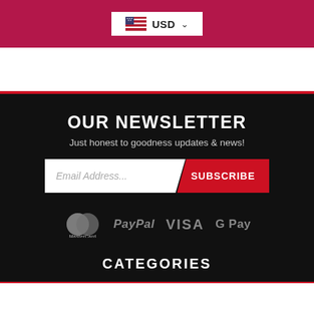[Figure (screenshot): Crimson header bar with USD currency selector showing US flag and dropdown chevron]
[Figure (screenshot): White section with red bottom border dividing header from footer]
OUR NEWSLETTER
Just honest to goodness updates & news!
[Figure (screenshot): Email subscription form with 'Email Address...' input field and red SUBSCRIBE button]
[Figure (logo): Payment logos: MasterCard, PayPal, VISA, G Pay]
CATEGORIES